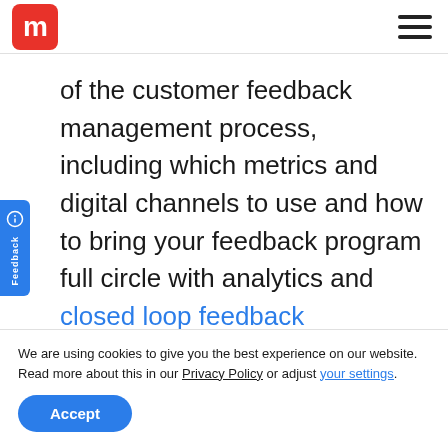m [logo] [hamburger menu]
of the customer feedback management process, including which metrics and digital channels to use and how to bring your feedback program full circle with analytics and closed loop feedback techniques.
We are using cookies to give you the best experience on our website.
Read more about this in our Privacy Policy or adjust your settings.
Accept